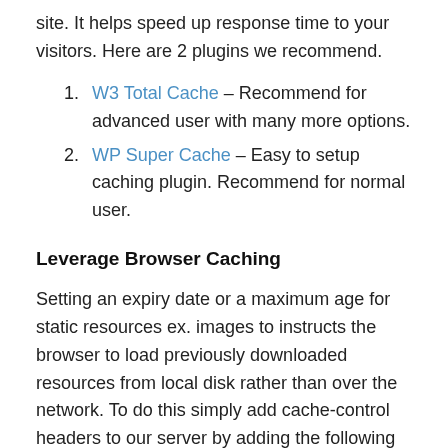site. It helps speed up response time to your visitors. Here are 2 plugins we recommend.
W3 Total Cache – Recommend for advanced user with many more options.
WP Super Cache – Easy to setup caching plugin. Recommend for normal user.
Leverage Browser Caching
Setting an expiry date or a maximum age for static resources ex. images to instructs the browser to load previously downloaded resources from local disk rather than over the network. To do this simply add cache-control headers to our server by adding the following code to server .htaccess file